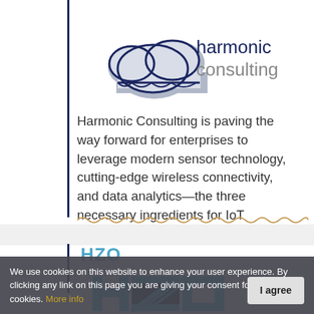[Figure (logo): Harmonic Consulting logo: cloud icon with 'harmonic consulting' text in dark navy/grey]
Harmonic Consulting is paving the way forward for enterprises to leverage modern sensor technology, cutting-edge wireless connectivity, and data analytics—the three necessary ingredients for IoT realization
HZO
[Figure (logo): HZO logo: stylized H-Z-O letters in cyan/teal and dark background]
We use cookies on this website to enhance your user experience. By clicking any link on this page you are giving your consent for us to set cookies. More info